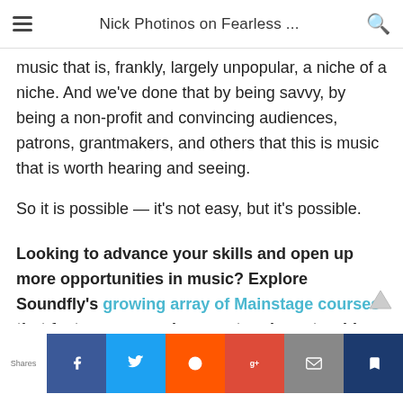Nick Photinos on Fearless ...
music that is, frankly, largely unpopular, a niche of a niche. And we've done that by being savvy, by being a non-profit and convincing audiences, patrons, grantmakers, and others that this is music that is worth hearing and seeing.
So it is possible — it's not easy, but it's possible.
Looking to advance your skills and open up more opportunities in music? Explore Soundfly's growing array of Mainstage courses that feature personal support and mentorship from experienced professionals in the field, such as Faders Up: Modern Mixing Techniques, Beat Making in Ableton Live, Orchestration for Strings, and Unlocking the Emotional Power of Chords.
Shares | Facebook | Twitter | Reddit | Google+ | Email | Bookmark